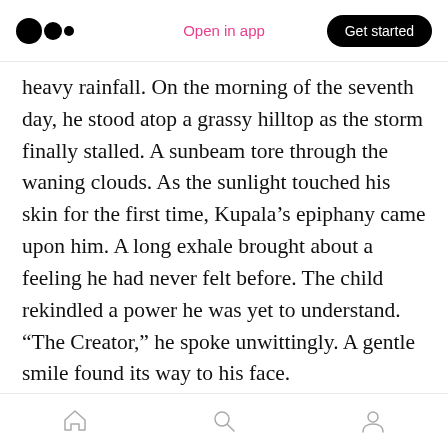Open in app | Get started
heavy rainfall. On the morning of the seventh day, he stood atop a grassy hilltop as the storm finally stalled. A sunbeam tore through the waning clouds. As the sunlight touched his skin for the first time, Kupala’s epiphany came upon him. A long exhale brought about a feeling he had never felt before. The child rekindled a power he was yet to understand. “The Creator,” he spoke unwittingly. A gentle smile found its way to his face.
Suddenly, his once dried eyelids opened wide. He observed the nature around him. Without
Home | Search | Profile